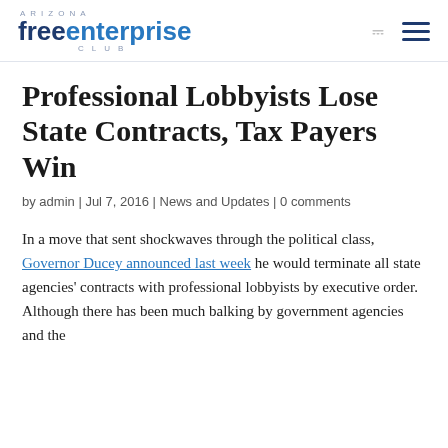Arizona Free Enterprise Club
Professional Lobbyists Lose State Contracts, Tax Payers Win
by admin | Jul 7, 2016 | News and Updates | 0 comments
In a move that sent shockwaves through the political class, Governor Ducey announced last week he would terminate all state agencies' contracts with professional lobbyists by executive order. Although there has been much balking by government agencies and the